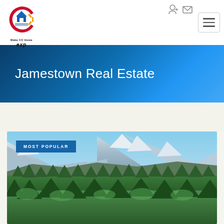[Figure (logo): Colorado C logo with house icon and 'Make CO Home' text and 'exp' branding below]
Jamestown Real Estate
[Figure (photo): Mountain landscape with snow-capped peaks and evergreen forest, labeled MOST POPULAR]